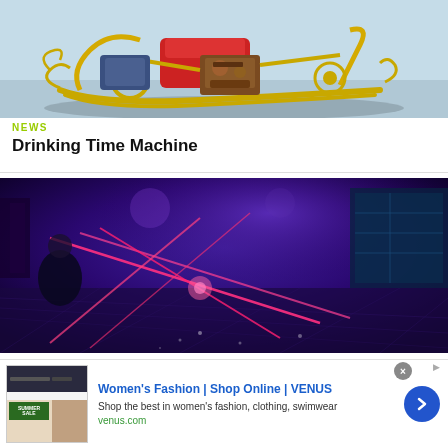[Figure (illustration): 3D rendered steampunk/fantasy sleigh with gold ornate frame, red seat, mechanical engine components, on a light blue-gray background]
NEWS
Drinking Time Machine
[Figure (photo): Dark nightclub scene with purple and blue lighting, pink/red laser beams crossing the dance floor, person visible on left side]
[Figure (other): Advertisement banner: Women's Fashion | Shop Online | VENUS. Shop the best in women's fashion, clothing, swimwear. venus.com]